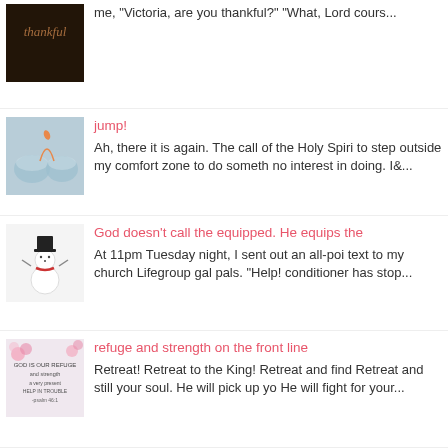[Figure (photo): Dark image with the word 'thankful' in orange text]
me, "Victoria, are you thankful?" "What, Lord cours...
[Figure (photo): Two fish bowls with a small fish jumping from one to the other]
jump!
Ah, there it is again. The call of the Holy Spiri to step outside my comfort zone to do someth no interest in doing. I&...
[Figure (photo): A snowman with a black top hat and red scarf on white background]
God doesn't call the equipped. He equips the
At 11pm Tuesday night, I sent out an all-poi text to my church Lifegroup gal pals. "Help! conditioner has stop...
[Figure (photo): Handwritten text image: 'God is our refuge and strength a very present help in trouble -psalm 46:1']
refuge and strength on the front line
Retreat! Retreat to the King! Retreat and find Retreat and still your soul. He will pick up yo He will fight for your...
[Figure (photo): A woman with blonde hair looking down, wearing a dark top]
when a woman loves
What happens when a woman loves? Men s Children feel more assured and confident. F beam with pride. People feel welc...